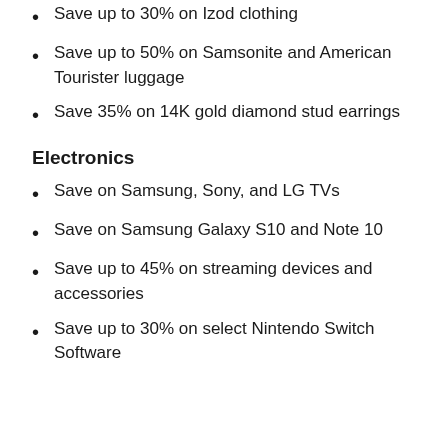Save up to 30% on Izod clothing
Save up to 50% on Samsonite and American Tourister luggage
Save 35% on 14K gold diamond stud earrings
Electronics
Save on Samsung, Sony, and LG TVs
Save on Samsung Galaxy S10 and Note 10
Save up to 45% on streaming devices and accessories
Save up to 30% on select Nintendo Switch Software